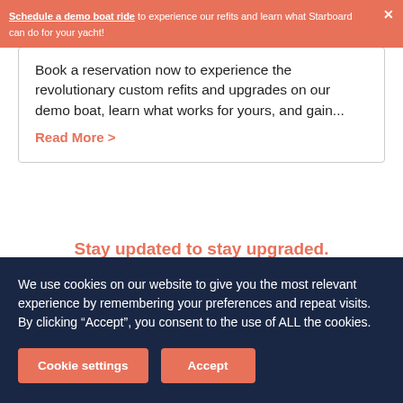Schedule a demo boat ride to experience our refits and learn what Starboard can do for your yacht!
Book a reservation now to experience the revolutionary custom refits and upgrades on our demo boat, learn what works for yours, and gain...
Read More >
Stay updated to stay upgraded.
Email
We use cookies on our website to give you the most relevant experience by remembering your preferences and repeat visits. By clicking “Accept”, you consent to the use of ALL the cookies.
Cookie settings
Accept